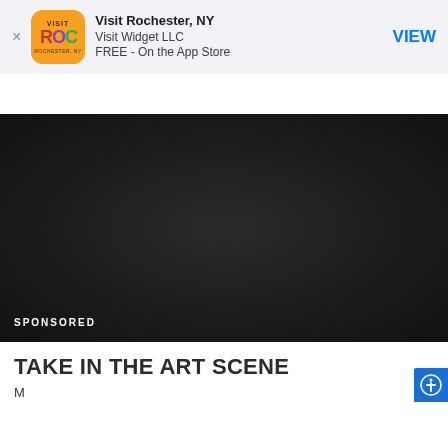[Figure (screenshot): App Store smart banner for Visit Rochester NY app showing orange app icon with VISIT ROC logo, app name, developer Visit Widget LLC, FREE - On the App Store, and VIEW button in blue]
[Figure (other): Dark/black video player area with SPONSORED label in white text at bottom left]
TAKE IN THE ART SCENE
Partial text below title, cut off at bottom of page